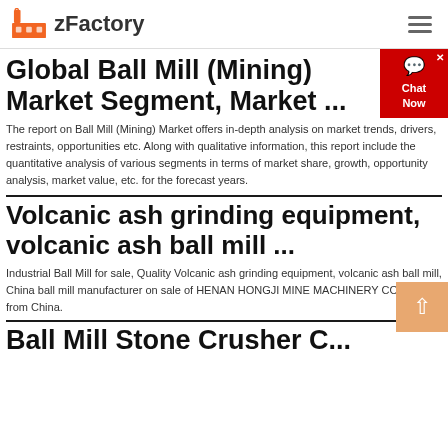zFactory
Global Ball Mill (Mining) Market Segment, Market ...
The report on Ball Mill (Mining) Market offers in-depth analysis on market trends, drivers, restraints, opportunities etc. Along with qualitative information, this report include the quantitative analysis of various segments in terms of market share, growth, opportunity analysis, market value, etc. for the forecast years.
Volcanic ash grinding equipment, volcanic ash ball mill ...
Industrial Ball Mill for sale, Quality Volcanic ash grinding equipment, volcanic ash ball mill, China ball mill manufacturer on sale of HENAN HONGJI MINE MACHINERY CO.,LTD from China.
Ball Mill Stone Crusher C...